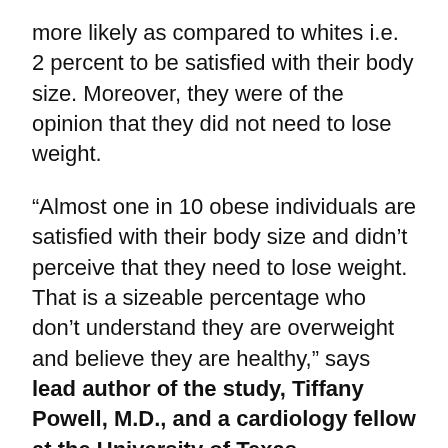more likely as compared to whites i.e. 2 percent to be satisfied with their body size. Moreover, they were of the opinion that they did not need to lose weight.
“Almost one in 10 obese individuals are satisfied with their body size and didn’t perceive that they need to lose weight. That is a sizeable percentage who don’t understand they are overweight and believe they are healthy,” says lead author of the study, Tiffany Powell, M.D., and a cardiology fellow at the University of Texas Southwestern